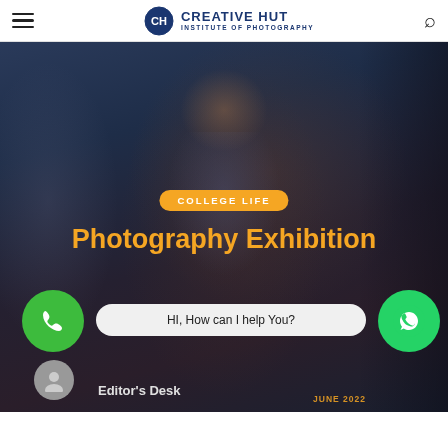CREATIVE HUT INSTITUTE OF PHOTOGRAPHY
[Figure (photo): Hero section with dark blue overlay showing a young man wearing a cap, in a dim indoor setting. Center has a yellow pill-shaped badge reading 'COLLEGE LIFE' and bold yellow title 'Photography Exhibition'.]
COLLEGE LIFE
Photography Exhibition
HI, How can I help You?
Editor's Desk